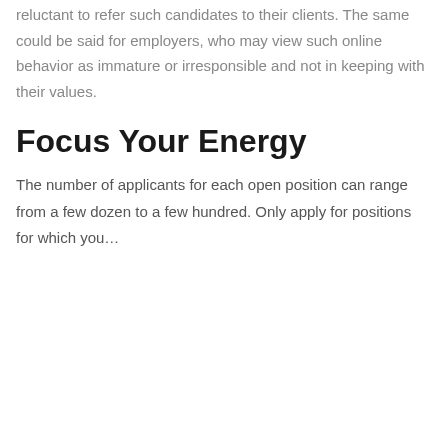reluctant to refer such candidates to their clients. The same could be said for employers, who may view such online behavior as immature or irresponsible and not in keeping with their values.
Focus Your Energy
The number of applicants for each open position can range from a few dozen to a few hundred. Only apply for positions for which you…